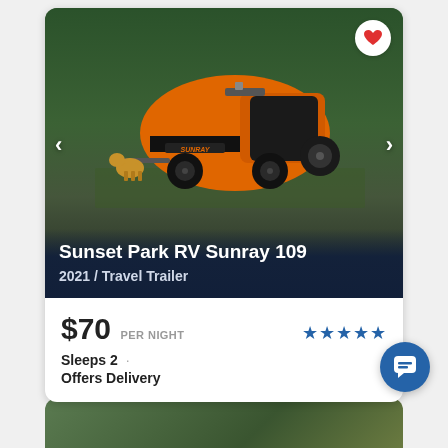[Figure (photo): Orange Sunray teardrop travel trailer parked outdoors in a green wooded area with a golden dog standing nearby. Navigation arrows on left and right sides of image. Heart/favorite button in top right corner.]
Sunset Park RV Sunray 109
2021 / Travel Trailer
$70 PER NIGHT
[Figure (other): Five blue filled stars rating]
Sleeps 2
Offers Delivery
[Figure (other): Blue circular chat/message button in bottom right]
[Figure (photo): Bottom peek of a second listing card showing a green wooded outdoor scene]